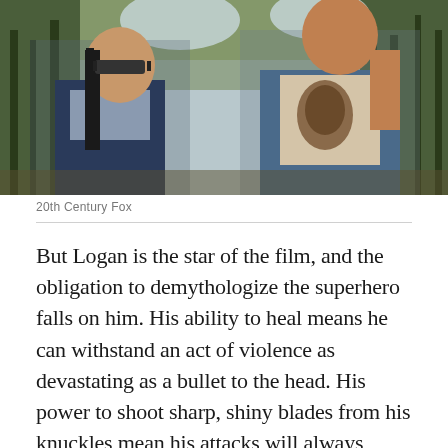[Figure (photo): Two figures standing outdoors among trees. A young person with long dark hair and sunglasses on the left, and a taller figure in a denim jacket with a graphic t-shirt on the right. Scene appears to be from a movie, likely Logan (2017).]
20th Century Fox
But Logan is the star of the film, and the obligation to demythologize the superhero falls on him. His ability to heal means he can withstand an act of violence as devastating as a bullet to the head. His power to shoot sharp, shiny blades from his knuckles mean his attacks will always involve some sort of bloodshed, even if it's only his own. But throughout X-Men and Wolverine's kid-friendly history, we've watched him stab, slice, and impale his enemies with minimal gore — or simply heard